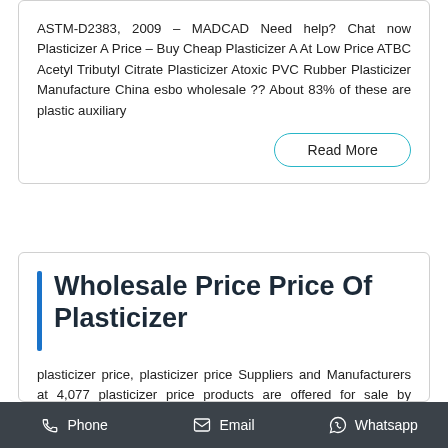ASTM-D2383, 2009 – MADCAD Need help? Chat now Plasticizer A Price – Buy Cheap Plasticizer A At Low Price ATBC Acetyl Tributyl Citrate Plasticizer Atoxic PVC Rubber Plasticizer Manufacture China esbo wholesale ?? About 83% of these are plastic auxiliary
Read More
Wholesale Price Price Of Plasticizer
plasticizer price, plasticizer price Suppliers and Manufacturers at 4,077 plasticizer price products are offered for sale by suppliers on Alibaba.com, of which plastic auxiliary
Phone   Email   Whatsapp